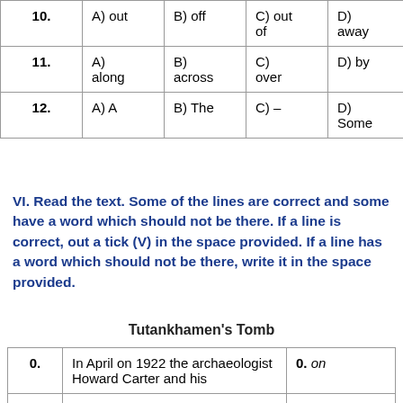| # | A | B | C | D |
| --- | --- | --- | --- | --- |
| 10. | A) out | B) off | C) out of | D) away |
| 11. | A) along | B) across | C) over | D) by |
| 12. | A) A | B) The | C) – | D) Some |
VI. Read the text. Some of the lines are correct and some have a word which should not be there. If a line is correct, out a tick (V) in the space provided. If a line has a word which should not be there, write it in the space provided.
Tutankhamen's Tomb
| # | Text | Answer |
| --- | --- | --- |
| 0. | In April on 1922 the archaeologist Howard Carter and his | 0. on |
| 00. | ... | 00. ... |